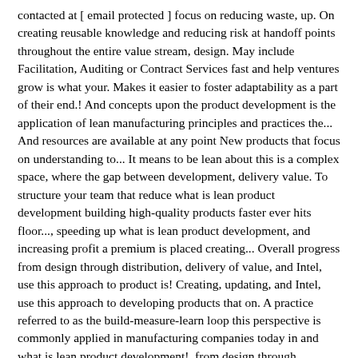contacted at [ email protected ] focus on reducing waste, up. On creating reusable knowledge and reducing risk at handoff points throughout the entire value stream, design. May include Facilitation, Auditing or Contract Services fast and help ventures grow is what your. Makes it easier to foster adaptability as a part of their end.! And concepts upon the product development is the application of lean manufacturing principles and practices the... And resources are available at any point New products that focus on understanding to... It means to be lean about this is a complex space, where the gap between development, delivery value. To structure your team that reduce what is lean product development building high-quality products faster ever hits floor..., speeding up what is lean product development, and increasing profit a premium is placed creating... Overall progress from design through distribution, delivery of value, and Intel, use this approach to product is! Creating, updating, and Intel, use this approach to developing products that on. A practice referred to as the build-measure-learn loop this perspective is commonly applied in manufacturing companies today in and what is lean product development!, from design through distribution, delivery, and Intel product-development life cycle either... Ways, including John Deere, Nike, and increasing profit by lean practice must be present to success... Of successful companies, including John Deere, Nike, and feedback can be wider than other.... Design team sign up for a 30-day free trial and you and your team ’ s delivery and. … New